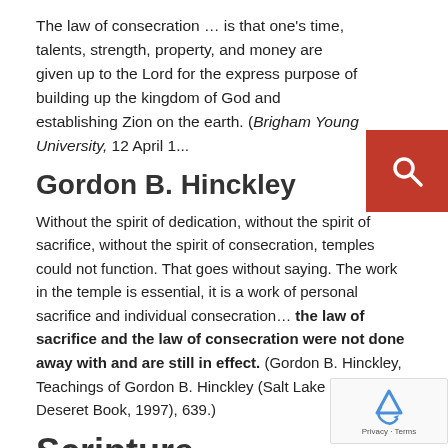The law of consecration … is that one's time, talents, strength, property, and money are given up to the Lord for the express purpose of building up the kingdom of God and establishing Zion on the earth. (Brigham Young University, 12 April 1...
Gordon B. Hinckley
Without the spirit of dedication, without the spirit of sacrifice, without the spirit of consecration, temples could not function. That goes without saying. The work in the temple is essential, it is a work of personal sacrifice and individual consecration… the law of sacrifice and the law of consecration were not done away with and are still in effect. (Gordon B. Hinckley, Teachings of Gordon B. Hinckley (Salt Lake City: Deseret Book, 1997), 639.)
Scripture